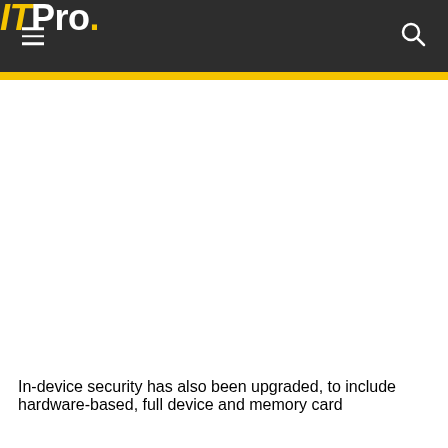ITPro.
In-device security has also been upgraded, to include hardware-based, full device and memory card